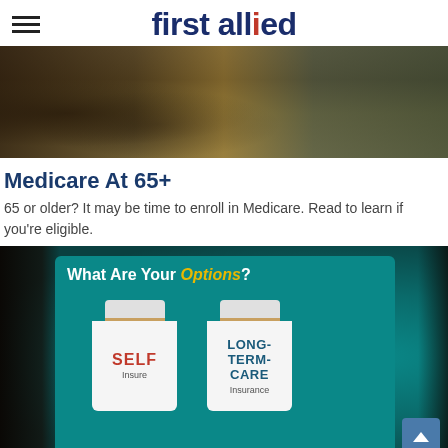first allied
[Figure (photo): Photo of people outdoors, cropped showing torsos with colorful clothing]
Medicare At 65+
65 or older? It may be time to enroll in Medicare. Read to learn if you're eligible.
[Figure (photo): Photo of a tablet displaying an insurance options screen with text 'What Are Your Options?' and two pill bottles labeled SELF Insure and LONG-TERM-CARE Insurance]